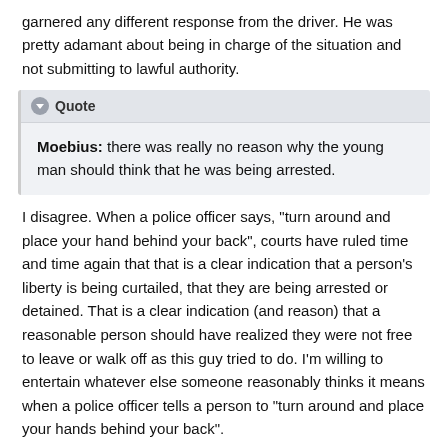garnered any different response from the driver. He was pretty adamant about being in charge of the situation and not submitting to lawful authority.
Quote — Moebius: there was really no reason why the young man should think that he was being arrested.
I disagree. When a police officer says, "turn around and place your hand behind your back", courts have ruled time and time again that that is a clear indication that a person's liberty is being curtailed, that they are being arrested or detained. That is a clear indication (and reason) that a reasonable person should have realized they were not free to leave or walk off as this guy tried to do. I'm willing to entertain whatever else someone reasonably thinks it means when a police officer tells a person to "turn around and place your hands behind your back".
Quote